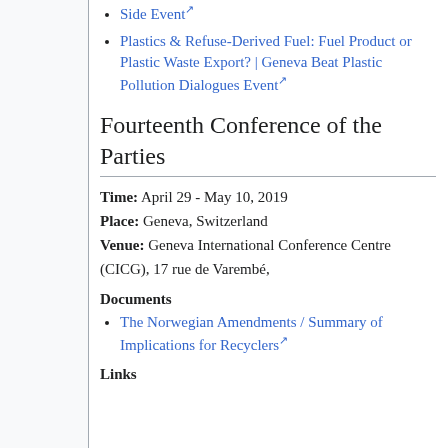Plastics & Refuse-Derived Fuel: Fuel Product or Plastic Waste Export? | Geneva Beat Plastic Pollution Dialogues Event
Fourteenth Conference of the Parties
Time: April 29 - May 10, 2019
Place: Geneva, Switzerland
Venue: Geneva International Conference Centre (CICG), 17 rue de Varembé,
Documents
The Norwegian Amendments / Summary of Implications for Recyclers
Links